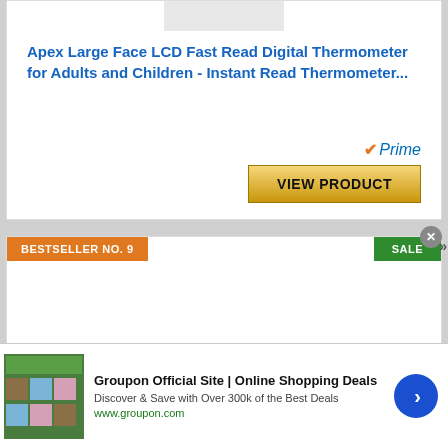Apex Large Face LCD Fast Read Digital Thermometer for Adults and Children - Instant Read Thermometer...
[Figure (other): Amazon Prime logo with checkmark and VIEW PRODUCT button in gold]
BESTSELLER NO. 9
SALE
[Figure (screenshot): Groupon advertisement banner with product images]
Groupon Official Site | Online Shopping Deals
Discover & Save with Over 300k of the Best Deals
www.groupon.com